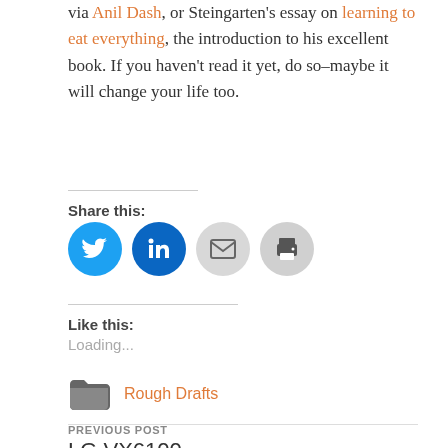via Anil Dash, or Steingarten's essay on learning to eat everything, the introduction to his excellent book. If you haven't read it yet, do so–maybe it will change your life too.
Share this:
[Figure (infographic): Social sharing icons: Twitter (blue circle), LinkedIn (dark blue circle), Email (light gray circle), Print (light gray circle)]
Like this:
Loading...
Rough Drafts
PREVIOUS POST
LG VX6100